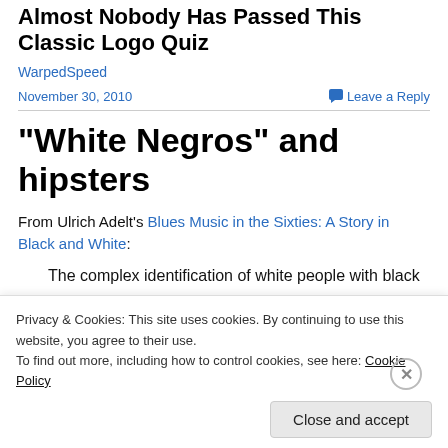Almost Nobody Has Passed This Classic Logo Quiz
WarpedSpeed
November 30, 2010    Leave a Reply
“White Negros” and hipsters
From Ulrich Adelt’s Blues Music in the Sixties: A Story in Black and White:
The complex identification of white people with black
Privacy & Cookies: This site uses cookies. By continuing to use this website, you agree to their use.
To find out more, including how to control cookies, see here: Cookie Policy
Close and accept